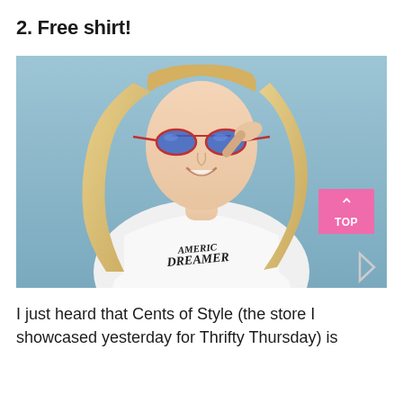2. Free shirt!
[Figure (photo): A smiling blonde woman wearing blue mirrored aviator sunglasses and a white t-shirt that reads 'America Dreamer', posed against a light blue background, holding her sunglasses with one hand.]
I just heard that Cents of Style (the store I showcased yesterday for Thrifty Thursday) is